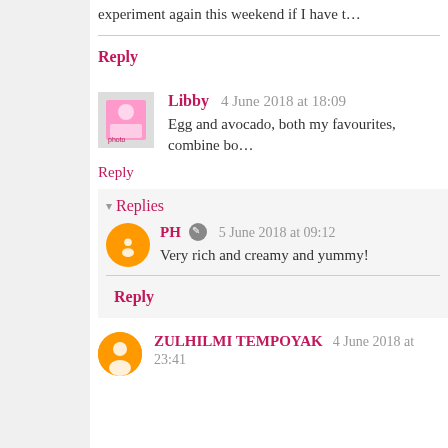experiment again this weekend if I have t…
Reply
Libby 4 June 2018 at 18:09
Egg and avocado, both my favourites, combine bo…
Reply
Replies
PH 5 June 2018 at 09:12
Very rich and creamy and yummy!
Reply
ZULHILMI TEMPOYAK 4 June 2018 at 23:41